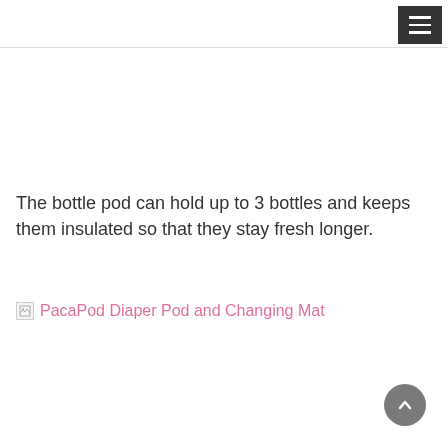The bottle pod can hold up to 3 bottles and keeps them insulated so that they stay fresh longer.
[Figure (other): Broken image link showing alt text: PacaPod Diaper Pod and Changing Mat, displayed in pink link color]
[Figure (other): Scroll-to-top button: circular dark gray button with upward chevron arrow, positioned at bottom right]